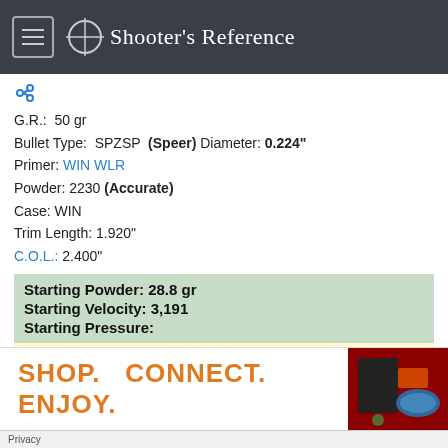Shooter's Reference
GR.: 50 gr
Bullet Type: SPZSP (Speer) Diameter: 0.224"
Primer: WIN WLR
Powder: 2230 (Accurate)
Case: WIN
Trim Length: 1.920"
C.O.L.: 2.400"
Starting Powder: 28.8 gr
Starting Velocity: 3,191
Starting Pressure:
Max Powder: 32.0 gr
Max Velocity: 3,484
SHOP.  CONNECT.  ENJOY.
Privacy